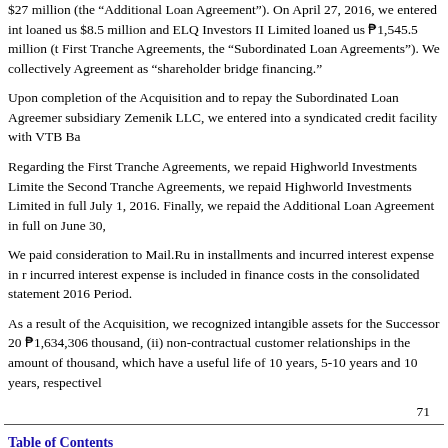$27 million (the “Additional Loan Agreement”). On April 27, 2016, we entered into loaned us $8.5 million and ELQ Investors II Limited loaned us ₱1,545.5 million (t First Tranche Agreements, the “Subordinated Loan Agreements”). We collectively Agreement as “shareholder bridge financing.”
Upon completion of the Acquisition and to repay the Subordinated Loan Agreemer subsidiary Zemenik LLC, we entered into a syndicated credit facility with VTB Ba
Regarding the First Tranche Agreements, we repaid Highworld Investments Limite the Second Tranche Agreements, we repaid Highworld Investments Limited in full July 1, 2016. Finally, we repaid the Additional Loan Agreement in full on June 30,
We paid consideration to Mail.Ru in installments and incurred interest expense in r incurred interest expense is included in finance costs in the consolidated statement 2016 Period.
As a result of the Acquisition, we recognized intangible assets for the Successor 20 ₱1,634,306 thousand, (ii) non-contractual customer relationships in the amount of thousand, which have a useful life of 10 years, 5-10 years and 10 years, respectivel
71
Table of Contents
The table below summarizes allocations of consideration of ₱10,129,072 thousand